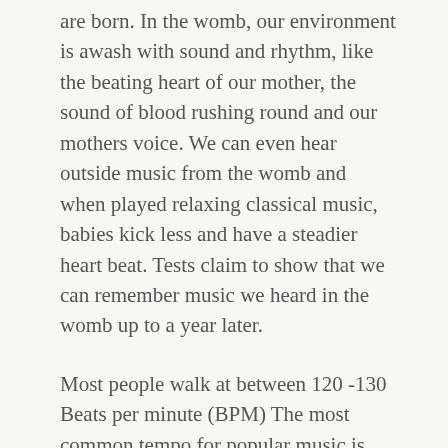are born. In the womb, our environment is awash with sound and rhythm, like the beating heart of our mother, the sound of blood rushing round and our mothers voice. We can even hear outside music from the womb and when played relaxing classical music, babies kick less and have a steadier heart beat. Tests claim to show that we can remember music we heard in the womb up to a year later.
Most people walk at between 120 -130 Beats per minute (BPM) The most common tempo for popular music is between 120 130 BPM. This is no coincidence. If you had music playing in your spaceship you'd notice that all the people walking around are walking pretty much in time with the beat of most songs played on the radio – even though they arent listening to any music. I watch them all the time as I drive around.